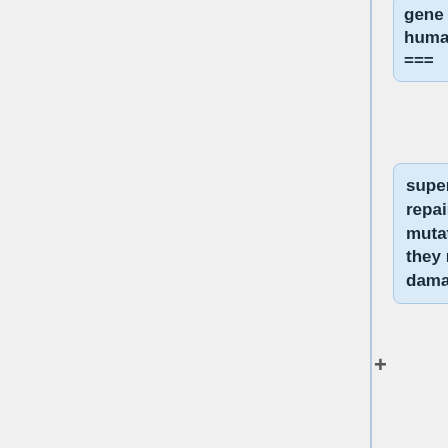gene will do to change human ===
super humans with super repair won't fix new mutations in genome, when they repair common DNA damage
=== Bioart Critic ===
=== Bioart Critic ===
Line 54:
Line 77:
=== Gene Action ===
=== Gene Action ===